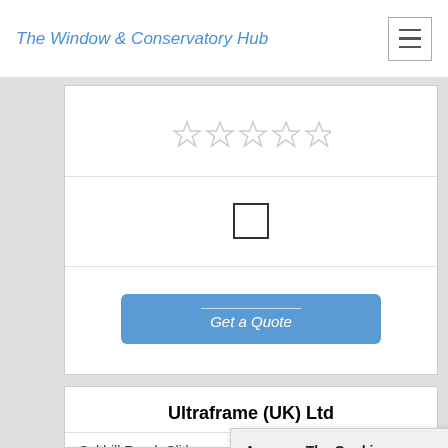The Window & Conservatory Hub
[Figure (screenshot): Five empty star rating icons in a row]
[Figure (screenshot): Empty checkbox UI element]
Get a Quote
Ultraframe (UK) Ltd
Salthill Road, Clitheroe
84
[Figure (screenshot): Cookie consent popup: Approve The Cookies. This site uses cookies to improve your user experience. Accept / Decline buttons. Cookie policy link.]